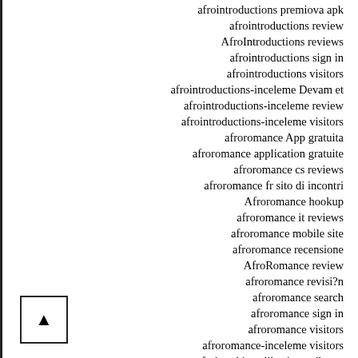afrointroductions premiova apk
afrointroductions review
AfroIntroductions reviews
afrointroductions sign in
afrointroductions visitors
afrointroductions-inceleme Devam et
afrointroductions-inceleme review
afrointroductions-inceleme visitors
afroromance App gratuita
afroromance application gratuite
afroromance cs reviews
afroromance fr sito di incontri
Afroromance hookup
afroromance it reviews
afroromance mobile site
afroromance recensione
AfroRomance review
afroromance revisi?n
afroromance search
afroromance sign in
afroromance visitors
afroromance-inceleme visitors
afrykanskie aplikacje randkowe
afrykanskie-serwisy-randkowe kod promocyjny
Age Gap Dating Sites online
Age Gap Dating Sites review
Age Gap Dating Sites reviews